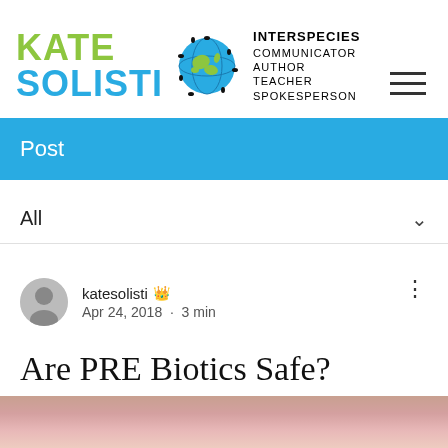KATE SOLISTI — INTERSPECIES COMMUNICATOR AUTHOR TEACHER SPOKESPERSON
Post
All
katesolisti · Apr 24, 2018 · 3 min
Are PRE Biotics Safe?
[Figure (photo): Blurred bottom image, partially visible]